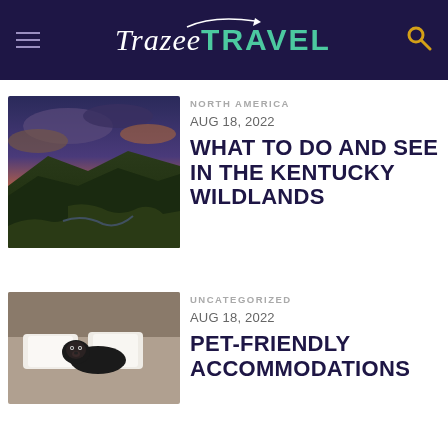Trazee TRAVEL
[Figure (photo): Aerial landscape photo of Kentucky mountains and valleys at sunset with dramatic clouds]
NORTH AMERICA
AUG 18, 2022
WHAT TO DO AND SEE IN THE KENTUCKY WILDLANDS
[Figure (photo): A dachshund dog lying on a hotel bed with white pillows]
UNCATEGORIZED
AUG 18, 2022
PET-FRIENDLY ACCOMMODATIONS